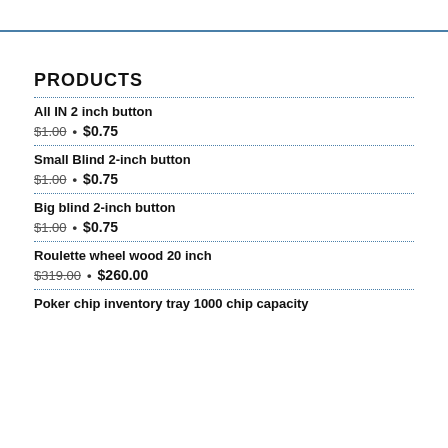PRODUCTS
All IN 2 inch button
$1.00 • $0.75
Small Blind 2-inch button
$1.00 • $0.75
Big blind 2-inch button
$1.00 • $0.75
Roulette wheel wood 20 inch
$319.00 • $260.00
Poker chip inventory tray 1000 chip capacity